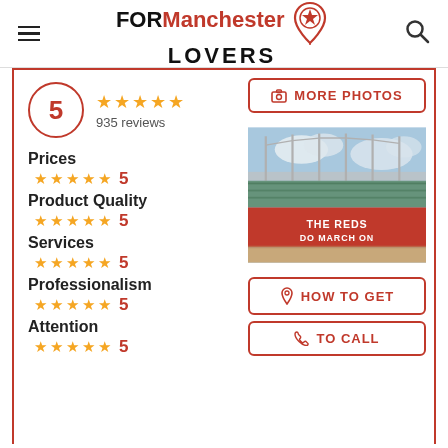FOR Manchester LOVERS
5 ★★★★★ 935 reviews
Prices ★★★★★ 5
Product Quality ★★★★★ 5
Services ★★★★★ 5
Professionalism ★★★★★ 5
Attention ★★★★★ 5
[Figure (photo): Exterior photo of Old Trafford stadium with red facade reading 'THE REDS DO MARCH ON', steel roof trusses, green glass panels, and a partly cloudy sky]
MORE PHOTOS
HOW TO GET
TO CALL